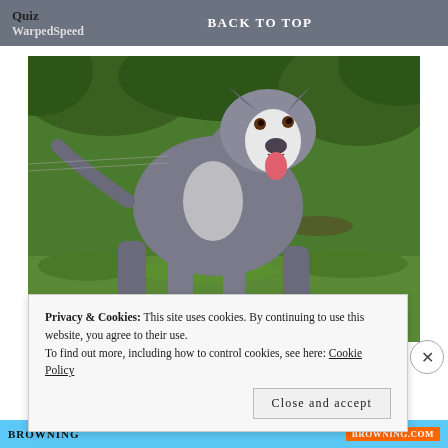Quiz
WarpedSpeed
BACK TO TOP
[Figure (photo): A large muscular gray and white pit bull dog standing on grass with green foliage in the background, tongue out and looking at the camera.]
Privacy & Cookies: This site uses cookies. By continuing to use this website, you agree to their use.
To find out more, including how to control cookies, see here: Cookie Policy
Close and accept